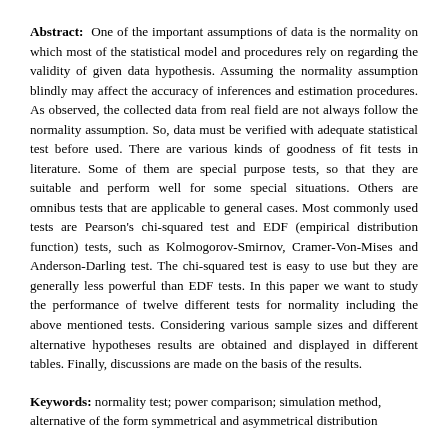Abstract: One of the important assumptions of data is the normality on which most of the statistical model and procedures rely on regarding the validity of given data hypothesis. Assuming the normality assumption blindly may affect the accuracy of inferences and estimation procedures. As observed, the collected data from real field are not always follow the normality assumption. So, data must be verified with adequate statistical test before used. There are various kinds of goodness of fit tests in literature. Some of them are special purpose tests, so that they are suitable and perform well for some special situations. Others are omnibus tests that are applicable to general cases. Most commonly used tests are Pearson's chi-squared test and EDF (empirical distribution function) tests, such as Kolmogorov-Smirnov, Cramer-Von-Mises and Anderson-Darling test. The chi-squared test is easy to use but they are generally less powerful than EDF tests. In this paper we want to study the performance of twelve different tests for normality including the above mentioned tests. Considering various sample sizes and different alternative hypotheses results are obtained and displayed in different tables. Finally, discussions are made on the basis of the results.
Keywords: normality test; power comparison; simulation method, alternative of the form symmetrical and asymmetrical distribution